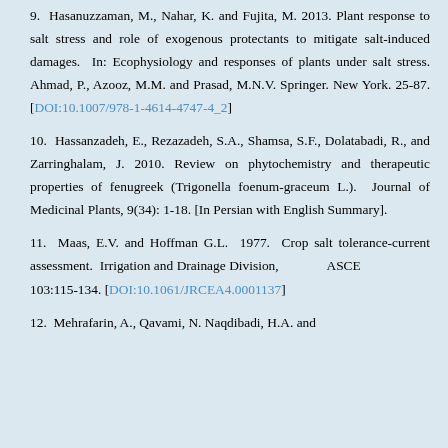9. Hasanuzzaman, M., Nahar, K. and Fujita, M. 2013. Plant response to salt stress and role of exogenous protectants to mitigate salt-induced damages. In: Ecophysiology and responses of plants under salt stress. Ahmad, P., Azooz, M.M. and Prasad, M.N.V. Springer. New York. 25-87. [DOI:10.1007/978-1-4614-4747-4_2]
10. Hassanzadeh, E., Rezazadeh, S.A., Shamsa, S.F., Dolatabadi, R., and Zarringhalam, J. 2010. Review on phytochemistry and therapeutic properties of fenugreek (Trigonella foenum-graceum L.). Journal of Medicinal Plants, 9(34): 1-18. [In Persian with English Summary].
11. Maas, E.V. and Hoffman G.L. 1977. Crop salt tolerance-current assessment. Irrigation and Drainage Division, ASCE 103:115-134. [DOI:10.1061/JRCEA4.0001137]
12. Mehrafarin, A., Qavami, N. Naqdibadi, H.A. and